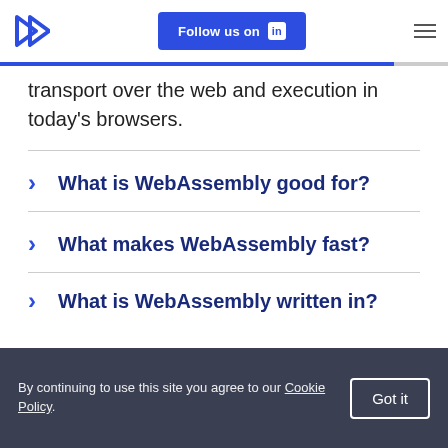Follow us on LinkedIn
transport over the web and execution in today's browsers.
What is WebAssembly good for?
What makes WebAssembly fast?
What is WebAssembly written in?
By continuing to use this site you agree to our Cookie Policy.